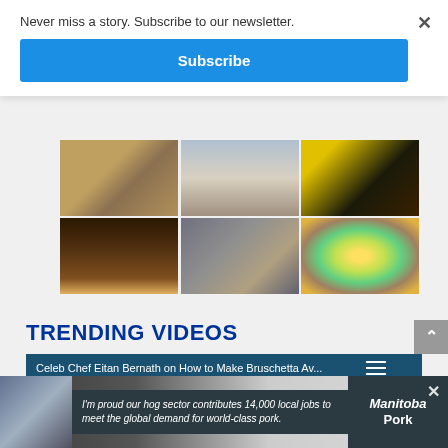Never miss a story. Subscribe to our newsletter.
Subscribe
[Figure (photo): Grid of 6 photos showing fair/rodeo scenes: top row has a bison/animal scene, people, colorful dark scene; bottom row has hands holding something, bull riding, decorative ball]
TRENDING VIDEOS
[Figure (screenshot): Video player card with teal header showing 'Celeb Chef Eitan Bernath on How to Make Bruschetta Av...' with hamburger menu icon and dark video thumbnail body]
[Figure (photo): Ad banner: Manitoba Pork advertisement with photo of man in suit and text 'I'm proud our hog sector contributes 14,000 local jobs to meet the global demand for world-class pork.' with Manitoba Pork logo]